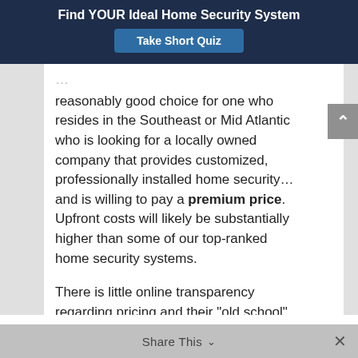Find YOUR Ideal Home Security System
Take Short Quiz
reasonably good choice for one who resides in the Southeast or Mid Atlantic who is looking for a locally owned company that provides customized, professionally installed home security…and is willing to pay a premium price. Upfront costs will likely be substantially higher than some of our top-ranked home security systems.
There is little online transparency regarding pricing and their "old school" sales approach may make some people uncomfortable with the potential of having to deal with a “pushy” salesperson.
Share This  ×